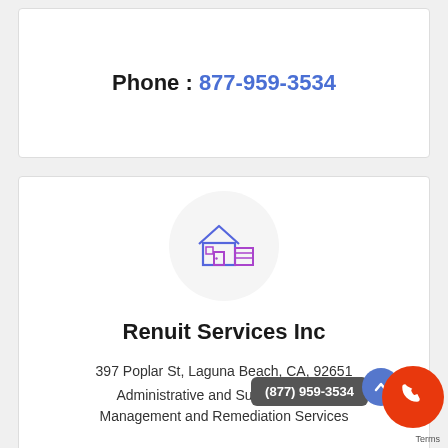Phone : 877-959-3534
[Figure (illustration): House and building icon in purple/blue gradient inside a light gray circle]
Renuit Services Inc
397 Poplar St, Laguna Beach, CA, 92651
Administrative and Support, Waste Management and Remediation Services